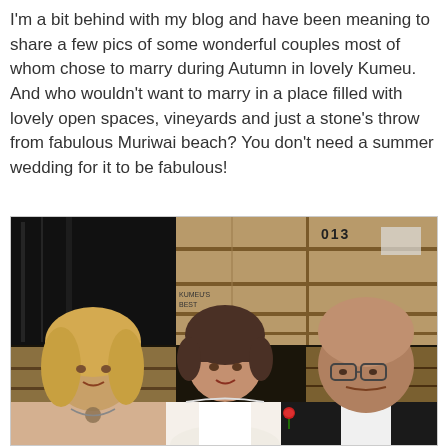I'm a bit behind with my blog and have been meaning to share a few pics of some wonderful couples most of whom chose to marry during Autumn in lovely Kumeu. And who wouldn't want to marry in a place filled with lovely open spaces, vineyards and just a stone's throw from fabulous Muriwai beach? You don't need a summer wedding for it to be fabulous!
[Figure (photo): Three people posing together in front of wooden crates and black plastic sheeting. Left: a woman with blonde hair wearing a floral top and necklace. Center: a woman with short dark hair wearing a white dress (bride). Right: an older bald man wearing glasses, a white shirt and black jacket with a red rose boutonniere.]